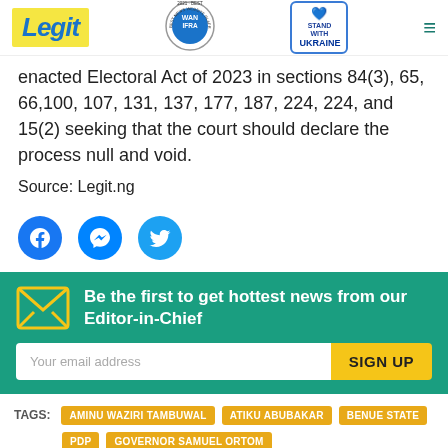Legit | WAN IFRA 2021 Best News Website in Africa | Stand with Ukraine
enacted Electoral Act of 2023 in sections 84(3), 65, 66,100, 107, 131, 137, 177, 187, 224, 224, and 15(2) seeking that the court should declare the process null and void.
Source: Legit.ng
[Figure (illustration): Social share icons: Facebook, Messenger, Twitter]
Be the first to get hottest news from our Editor-in-Chief
Your email address | SIGN UP
TAGS: AMINU WAZIRI TAMBUWAL, ATIKU ABUBAKAR, BENUE STATE, PDP, GOVERNOR SAMUEL ORTOM
HOT: EVELYN MCGEE-COLBERT, NICOLLETTE SHERIDAN